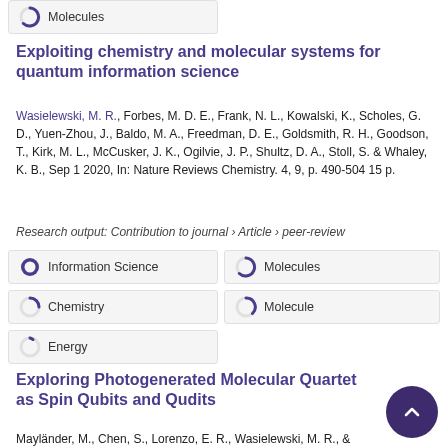[Figure (infographic): Circular donut/pie icon (~75% filled in purple) next to label 'Molecules' in a grey badge box at top of page]
Exploiting chemistry and molecular systems for quantum information science
Wasielewski, M. R., Forbes, M. D. E., Frank, N. L., Kowalski, K., Scholes, G. D., Yuen-Zhou, J., Baldo, M. A., Freedman, D. E., Goldsmith, R. H., Goodson, T., Kirk, M. L., McCusker, J. K., Ogilvie, J. P., Shultz, D. A., Stoll, S. & Whaley, K. B., Sep 1 2020, In: Nature Reviews Chemistry. 4, 9, p. 490-504 15 p.
Research output: Contribution to journal › Article › peer-review
[Figure (infographic): Circular donut icon (~100% filled in purple) next to label 'Information Science']
[Figure (infographic): Circular donut icon (~75% filled in purple) next to label 'Molecules']
[Figure (infographic): Circular donut icon (~45% filled in purple) next to label 'Chemistry']
[Figure (infographic): Circular donut icon (~30% filled in purple) next to label 'Molecule']
[Figure (infographic): Circular donut icon (~15% filled in purple) next to label 'Energy']
Exploring Photogenerated Molecular Quartet States as Spin Qubits and Qudits
Mayländer, M., Chen, S., Lorenzo, E. R., Wasielewski, M. R., &